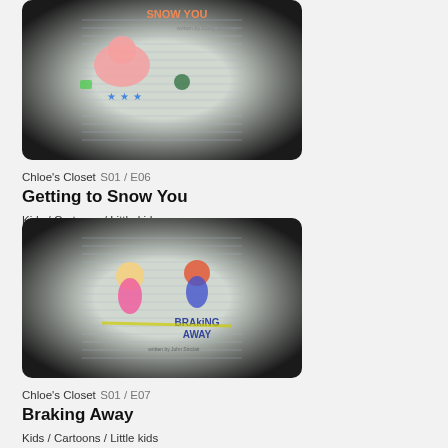[Figure (screenshot): Thumbnail image for Chloe's Closet episode 'Getting to Snow You' showing cartoon characters on a lined notebook paper background with colorful drawings and the text 'Getting to Snow You']
Chloe's Closet S01 / E06
Getting to Snow You
Kids / Cartoons / Little kids
11' — English
[Figure (screenshot): Thumbnail image for Chloe's Closet episode 'Braking Away' showing cartoon children on a lined notebook paper background with the text 'BRAkiNG AWAY' and 'written by John Sinclair']
Chloe's Closet S01 / E07
Braking Away
Kids / Cartoons / Little kids
11' — English